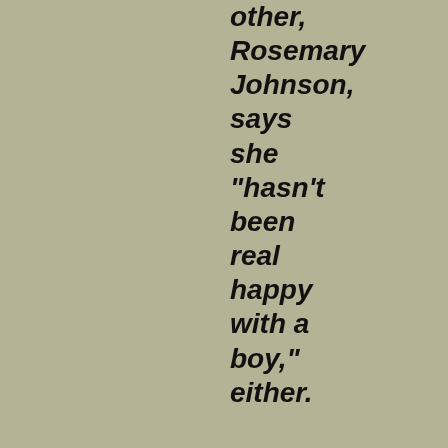other, Rosemary Johnson, says she "hasn't been real happy with a boy," either.

"It's not that Tommy isn't a sweet kid -- he's so kind